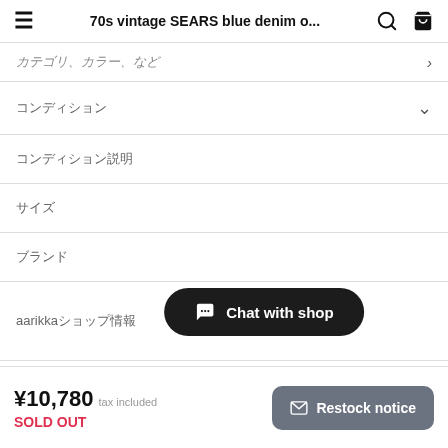70s vintage SEARS blue denim o...
カテゴリ、カラー、など
コンディション
コンディション説明
サイズ
ブランド
aarikkaショップ情報
Chat with shop
¥10,780 tax included
SOLD OUT
Restock notice